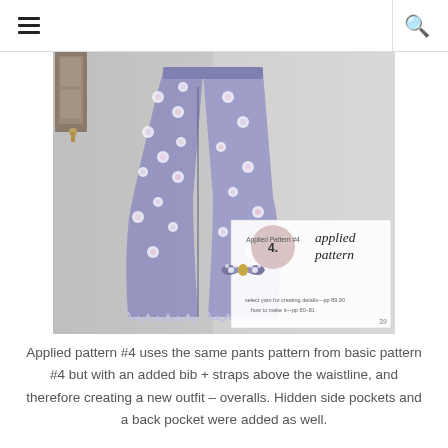≡  🔍
[Figure (photo): A photograph showing floral-patterned wide-leg pants (overalls) hanging on a wall hook. In the lower right of the image there is a book-page overlay showing a bow hair accessory made from the same floral fabric, with text reading 'Applied Pattern #4 applied pattern' and some additional small text about sewing details. The page is numbered 39.]
Applied pattern #4 uses the same pants pattern from basic pattern #4 but with an added bib + straps above the waistline, and therefore creating a new outfit – overalls. Hidden side pockets and a back pocket were added as well.